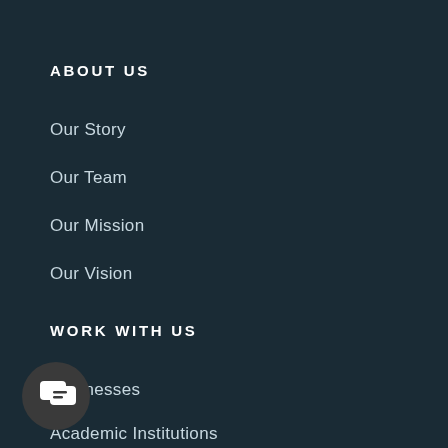ABOUT US
Our Story
Our Team
Our Mission
Our Vision
WORK WITH US
Businesses
Academic Institutions
[Figure (illustration): Chat widget icon — dark circle with a chat bubble icon in white]